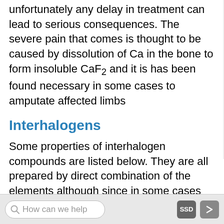unfortunately any delay in treatment can lead to serious consequences. The severe pain that comes is thought to be caused by dissolution of Ca in the bone to form insoluble CaF₂ and it is has been found necessary in some cases to amputate affected limbs
Interhalogens
Some properties of interhalogen compounds are listed below. They are all prepared by direct combination of the elements although since in some cases more than one product is possible the conditions may vary by altering the temperature and relative proportions. For example under the same conditions difluorine reacts with dichlorine to give ClF with dibromine to give BrF₃ but with diiodine to give IF₅.[1]
How can we help